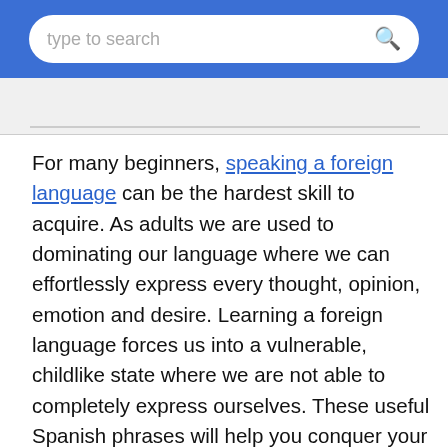type to search
For many beginners, speaking a foreign language can be the hardest skill to acquire. As adults we are used to dominating our language where we can effortlessly express every thought, opinion, emotion and desire. Learning a foreign language forces us into a vulnerable, childlike state where we are not able to completely express ourselves. These useful Spanish phrases will help you conquer your first experience in a Spanish speaking environment, whether it be traveling to a Spanish speaking country or going to the Mexican market